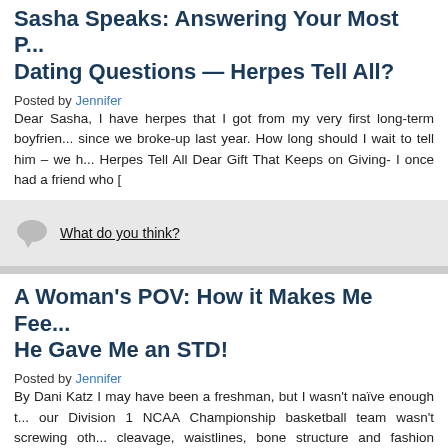Sasha Speaks: Answering Your Most P... Dating Questions — Herpes Tell All?
Posted by Jennifer
Dear Sasha, I have herpes that I got from my very first long-term boyfrien... since we broke-up last year. How long should I wait to tell him – we h... Herpes Tell All Dear Gift That Keeps on Giving- I once had a friend who [
What do you think?
A Woman's POV: How it Makes Me Fee... He Gave Me an STD!
Posted by Jennifer
By Dani Katz I may have been a freshman, but I wasn't naïve enough t... our Division 1 NCAA Championship basketball team wasn't screwing oth... cleavage, waistlines, bone structure and fashion sense, I hadn't given it... that is. It intensified […]
What do you think?